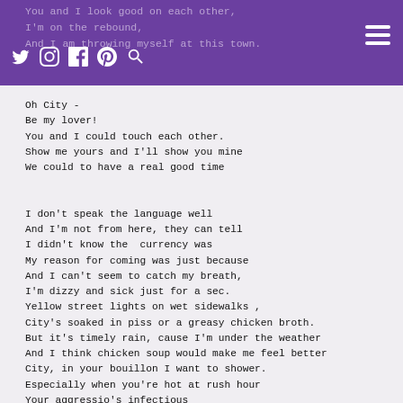You and I look good on each other,
I'm on the rebound,
And I am throwing myself at this town.
Oh City -
Be my lover!
You and I could touch each other.
Show me yours and I'll show you mine
We could to have a real good time


I don't speak the language well
And I'm not from here, they can tell
I didn't know the  currency was
My reason for coming was just because
And I can't seem to catch my breath,
I'm dizzy and sick just for a sec.
Yellow street lights on wet sidewalks ,
City's soaked in piss or a greasy chicken broth.
But it's timely rain, cause I'm under the weather
And I think chicken soup would make me feel better
City, in your bouillon I want to shower.
Especially when you're hot at rush hour
Your aggressio's infectious
Though your style is awfully pretentious.